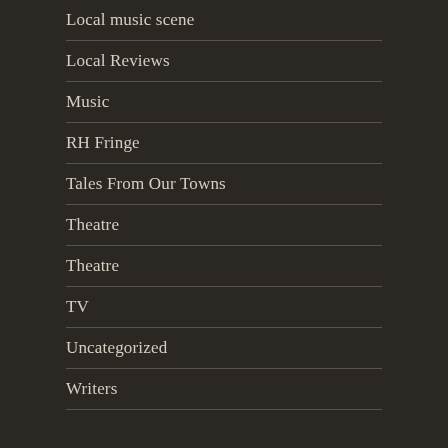Local music scene
Local Reviews
Music
RH Fringe
Tales From Our Towns
Theatre
Theatre
TV
Uncategorized
Writers